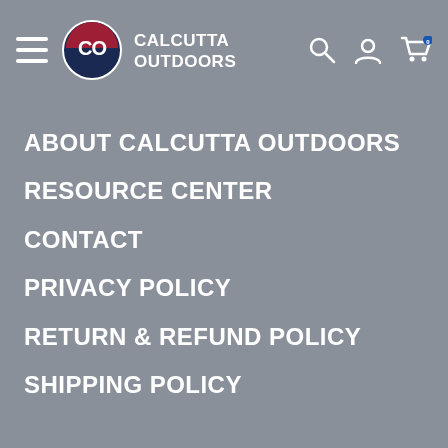[Figure (logo): Calcutta Outdoors logo with CO circle emblem in red/blue and text CALCUTTA OUTDOORS]
ABOUT CALCUTTA OUTDOORS
RESOURCE CENTER
CONTACT
PRIVACY POLICY
RETURN & REFUND POLICY
SHIPPING POLICY